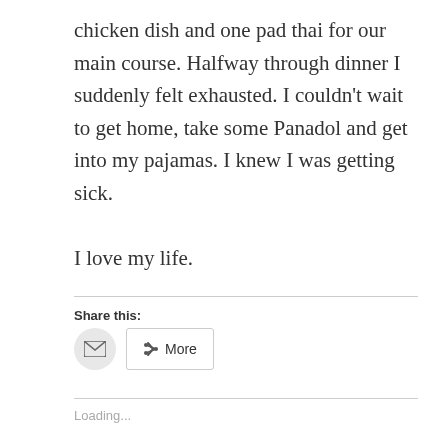chicken dish and one pad thai for our main course. Halfway through dinner I suddenly felt exhausted. I couldn't wait to get home, take some Panadol and get into my pajamas. I knew I was getting sick.

I love my life.
Share this:
Loading...